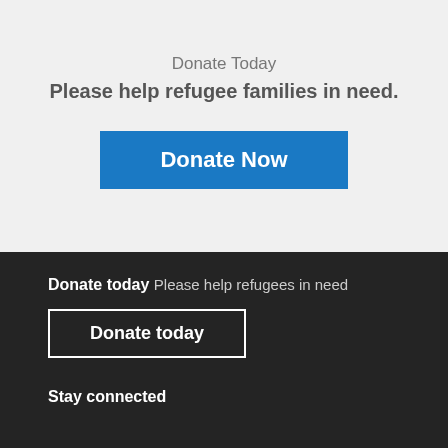Donate Today
Please help refugee families in need.
[Figure (other): Blue 'Donate Now' call-to-action button]
Donate today
Please help refugees in need
[Figure (other): White-bordered 'Donate today' call-to-action button on dark background]
Stay connected